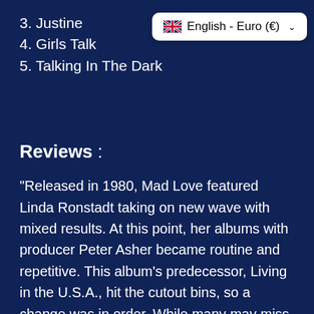3. Justine
4. Girls Talk
5. Talking In The Dark
[Figure (other): Language/currency selector badge showing UK flag, English - Euro (€) with dropdown chevron]
Reviews :
"Released in 1980, Mad Love featured Linda Ronstadt taking on new wave with mixed results. At this point, her albums with producer Peter Asher became routine and repetitive. This album's predecessor, Living in the U.S.A., hit the cutout bins, so a change was in order. While many may miss the customary Ronstadt here, most of Mad Love does indeed work. The insinuating "I Can't Let Go" and the playful "How Do I Make You" do help Ronstadt attain a certain